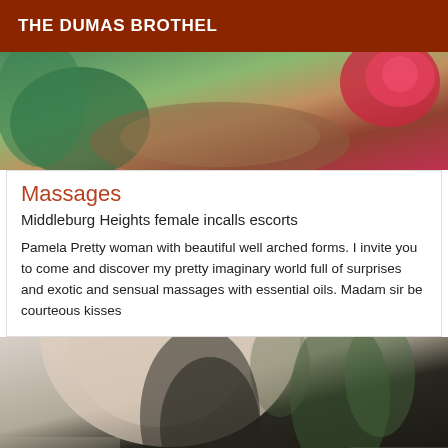THE DUMAS BROTHEL
[Figure (photo): Cropped photo showing a person with tropical plant background including green leaves and red hibiscus flower]
Massages
Middleburg Heights female incalls escorts
Pamela Pretty woman with beautiful well arched forms. I invite you to come and discover my pretty imaginary world full of surprises and exotic and sensual massages with essential oils. Madam sir be courteous kisses
[Figure (photo): Photo of a woman in a black top outdoors with trees and buildings in background]